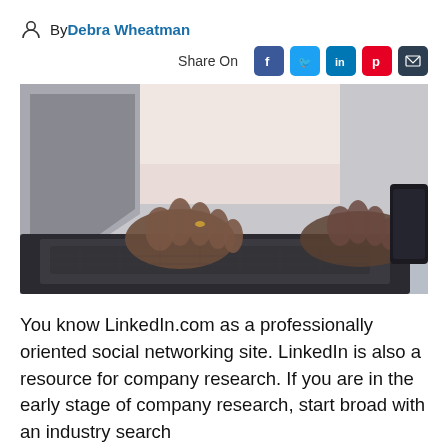By Debra Wheatman
Share On
[Figure (photo): Person typing on a laptop keyboard, close-up view from above, hands on keyboard, blurred background with soft light.]
You know LinkedIn.com as a professionally oriented social networking site. LinkedIn is also a resource for company research. If you are in the early stage of company research, start broad with an industry search